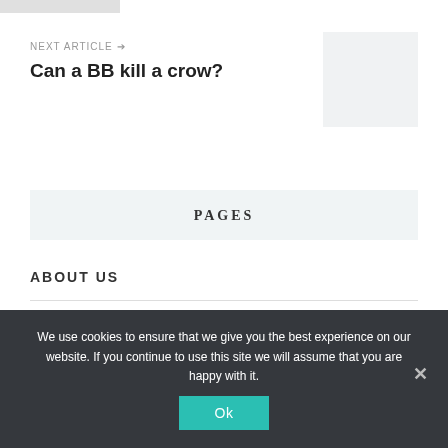[Figure (photo): Partially visible image placeholder at top left]
NEXT ARTICLE →
Can a BB kill a crow?
[Figure (photo): Light gray image placeholder for next article thumbnail]
PAGES
ABOUT US
CONTACTS
We use cookies to ensure that we give you the best experience on our website. If you continue to use this site we will assume that you are happy with it.